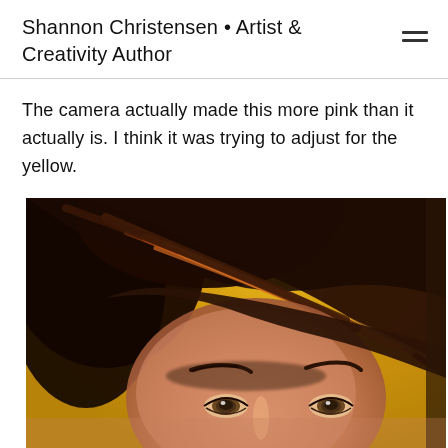Shannon Christensen • Artist & Creativity Author
The camera actually made this more pink than it actually is. I think it was trying to adjust for the yellow.
[Figure (illustration): Close-up oil painting of a woman with brown hair swept across her forehead, hazel eyes, and a glowing yellow-gold background. The painting shows textured brushwork with warm highlights in the hair.]